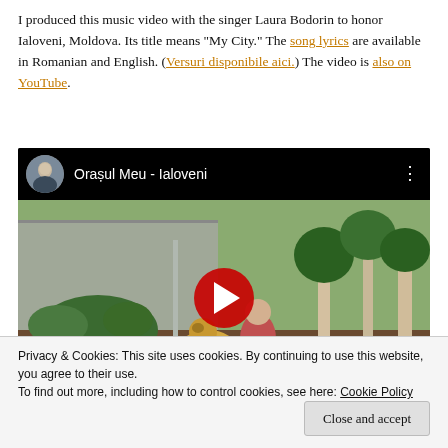I produced this music video with the singer Laura Bodorin to honor Ialoveni, Moldova. Its title means "My City." The song lyrics are available in Romanian and English. (Versuri disponibile aici.) The video is also on YouTube.
[Figure (screenshot): Embedded YouTube video thumbnail showing 'Orașul Meu - Ialoveni' with a garden scene featuring a woman and a dog, with a red play button overlay]
Privacy & Cookies: This site uses cookies. By continuing to use this website, you agree to their use.
To find out more, including how to control cookies, see here: Cookie Policy